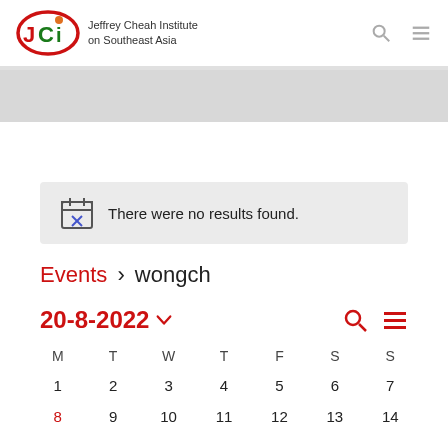[Figure (logo): Jeffrey Cheah Institute on Southeast Asia logo with JCI letters in red and green]
There were no results found.
Events › wongch
20-8-2022 ∨
| M | T | W | T | F | S | S |
| --- | --- | --- | --- | --- | --- | --- |
| 1 | 2 | 3 | 4 | 5 | 6 | 7 |
| 8 | 9 | 10 | 11 | 12 | 13 | 14 |